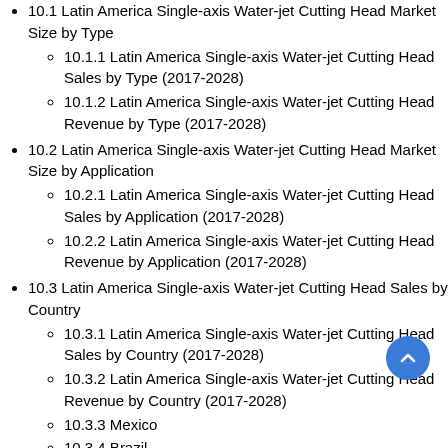10.1 Latin America Single-axis Water-jet Cutting Head Market Size by Type
10.1.1 Latin America Single-axis Water-jet Cutting Head Sales by Type (2017-2028)
10.1.2 Latin America Single-axis Water-jet Cutting Head Revenue by Type (2017-2028)
10.2 Latin America Single-axis Water-jet Cutting Head Market Size by Application
10.2.1 Latin America Single-axis Water-jet Cutting Head Sales by Application (2017-2028)
10.2.2 Latin America Single-axis Water-jet Cutting Head Revenue by Application (2017-2028)
10.3 Latin America Single-axis Water-jet Cutting Head Sales by Country
10.3.1 Latin America Single-axis Water-jet Cutting Head Sales by Country (2017-2028)
10.3.2 Latin America Single-axis Water-jet Cutting Head Revenue by Country (2017-2028)
10.3.3 Mexico
10.3.4 Brazil